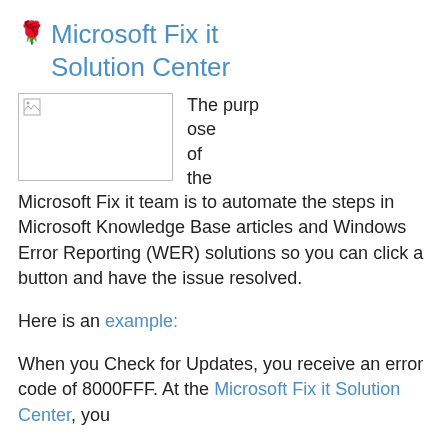Microsoft Fix it Solution Center
[Figure (photo): Small broken image placeholder thumbnail]
The purpose of the Microsoft Fix it team is to automate the steps in Microsoft Knowledge Base articles and Windows Error Reporting (WER) solutions so you can click a button and have the issue resolved.
Here is an example:
When you Check for Updates, you receive an error code of 8000FFF. At the Microsoft Fix it Solution Center, you